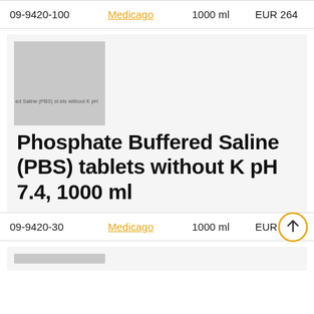| ID | Brand | Volume | Price |
| --- | --- | --- | --- |
| 09-9420-100 | Medicago | 1000 ml | EUR 264 |
[Figure (photo): Product image placeholder for Phosphate Buffered Saline (PBS) tablets without K pH 7.4, 1000 ml — grey placeholder with faint label text]
Phosphate Buffered Saline (PBS) tablets without K pH 7.4, 1000 ml
| ID | Brand | Volume | Price |
| --- | --- | --- | --- |
| 09-9420-30 | Medicago | 1000 ml | EUR 159 |